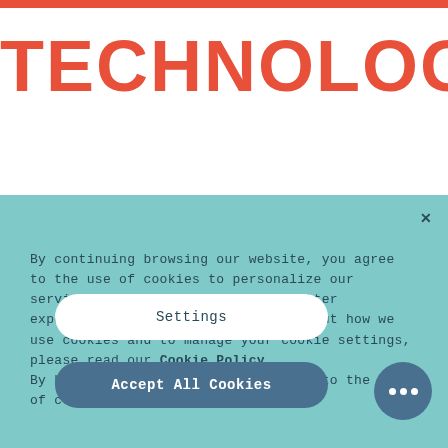TECHNOLOGY
By continuing browsing our website, you agree to the use of cookies to personalize our services and provide you with a better experience. For more information about how we use cookies and to manage your cookie settings, please read our Cookie Policy.
By browsing this website, you agree to the use of cookies.
Settings
Accept All Cookies